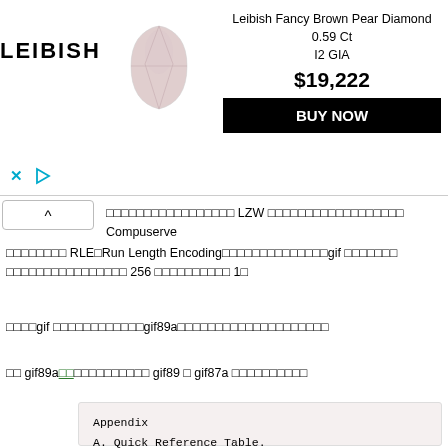[Figure (other): Leibish jewelry advertisement banner showing a pear-shaped diamond, price $19,222 and BUY NOW button with LEIBISH logo]
□□□□□□□□□□□□□□□□□ LZW □□□□□□□□□□□□□□□□□□ Compuserve
□□□□□□□□ RLE□Run Length Encoding□□□□□□□□□□□□□□gif □□□□□□□ □□□□□□□□□□□□□□□□ 256 □□□□□□□□□□ 1□
□□□□gif □□□□□□□□□□□□gif89a□□□□□□□□□□□□□□□□□□□□□
□□ gif89a□□□□□□□□□□□□ gif89 □ gif87a □□□□□□□□□□
| Block Name | Required |
| --- | --- |
| Appendix |  |
| A. Quick Reference Table. |  |
| Block Name | Required |
| Application Extension | Opt. (*) |
| Comment Extension | Opt. (*) |